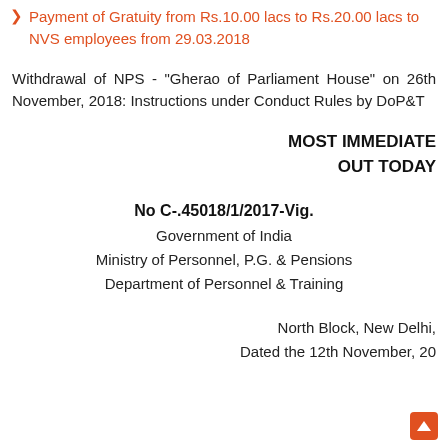Payment of Gratuity from Rs.10.00 lacs to Rs.20.00 lacs to NVS employees from 29.03.2018
Withdrawal of NPS - "Gherao of Parliament House" on 26th November, 2018: Instructions under Conduct Rules by DoP&T
MOST IMMEDIATE
OUT TODAY
No C-.45018/1/2017-Vig.
Government of India
Ministry of Personnel, P.G. & Pensions
Department of Personnel & Training
North Block, New Delhi,
Dated the 12th November, 20